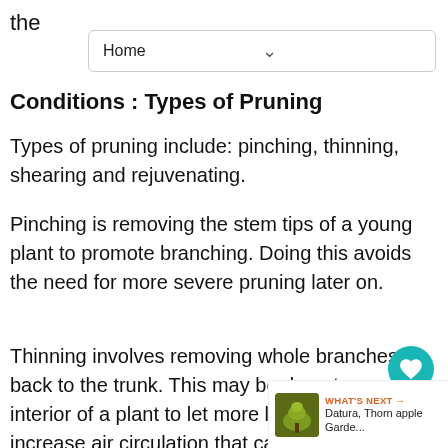the
Home
Conditions : Types of Pruning
Types of pruning include: pinching, thinning, shearing and rejuvenating.
Pinching is removing the stem tips of a young plant to promote branching. Doing this avoids the need for more severe pruning later on.
Thinning involves removing whole branches back to the trunk. This may be done to open the interior of a plant to let more light in and to increase air circulation that can cut plant disease. The best way to begin thinning is to begin by removing dead or diseased
[Figure (other): Heart/favorite button (teal circle with white heart icon) and share button with count 1]
[Figure (other): What's Next callout showing Datura, Thorn apple Garde... with a plant thumbnail]